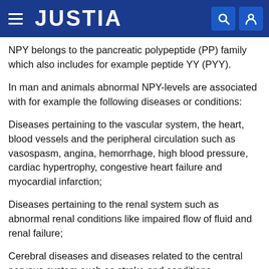JUSTIA
NPY belongs to the pancreatic polypeptide (PP) family which also includes for example peptide YY (PYY).
In man and animals abnormal NPY-levels are associated with for example the following diseases or conditions:
Diseases pertaining to the vascular system, the heart, blood vessels and the peripheral circulation such as vasospasm, angina, hemorrhage, high blood pressure, cardiac hypertrophy, congestive heart failure and myocardial infarction;
Diseases pertaining to the renal system such as abnormal renal conditions like impaired flow of fluid and renal failure;
Cerebral diseases and diseases related to the central nervous system such as stroke and conditions associated with stroke, cerebralvasospasm and